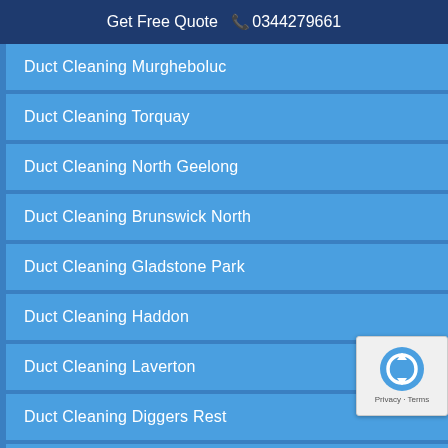Get Free Quote  📞 0344279661
Duct Cleaning Murgheboluc
Duct Cleaning Torquay
Duct Cleaning North Geelong
Duct Cleaning Brunswick North
Duct Cleaning Gladstone Park
Duct Cleaning Haddon
Duct Cleaning Laverton
Duct Cleaning Diggers Rest
Duct Cleaning ...